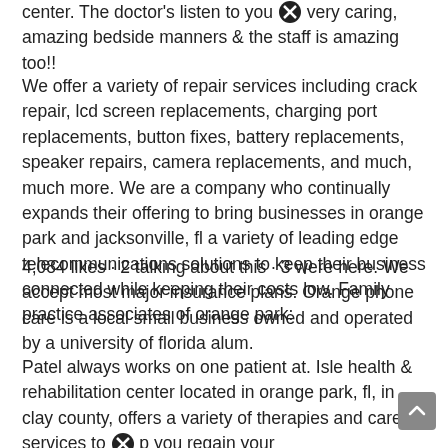center. The doctor's listen to you very caring, amazing bedside manners & the staff is amazing too!!
We offer a variety of repair services including crack repair, lcd screen replacements, charging port replacements, button fixes, battery replacements, speaker repairs, camera replacements, and much, much more. We are a company who continually expands their offering to bring businesses in orange park and jacksonville, fl a variety of leading edge telecommunications solutions to keep their business connected while keeping their costs low. Family practice associates of orange park:
4,084 likes · 2 talking about this · 3 were here. We accept most major insurance plans. Orange phone care is a local small business owned and operated by a university of florida alum.
Patel always works on one patient at. Isle health & rehabilitation center located in orange park, fl, in clay county, offers a variety of therapies and care services to help you regain your